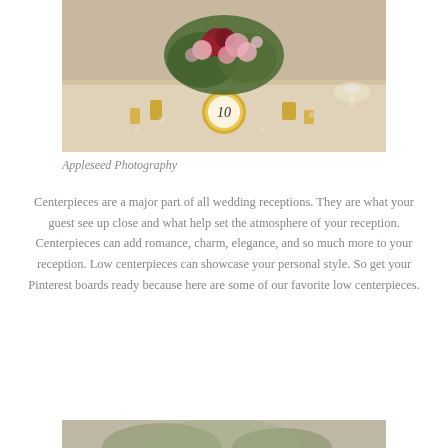[Figure (photo): Wedding reception table with floral centerpiece of red and pink roses, gold table number holder showing '10', gold candle holders, and decorative lace tablecloth]
Appleseed Photography
Centerpieces are a major part of all wedding receptions. They are what your guest see up close and what help set the atmosphere of your reception. Centerpieces can add romance, charm, elegance, and so much more to your reception. Low centerpieces can showcase your personal style. So get your Pinterest boards ready because here are some of our favorite low centerpieces.
[Figure (photo): Partial view of another wedding centerpiece photo at the bottom of the page]